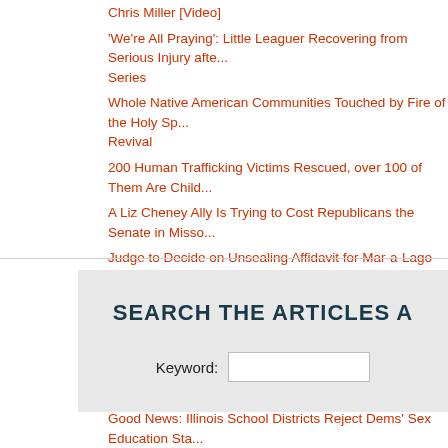Chris Miller [Video]
'We're All Praying': Little Leaguer Recovering from Serious Injury afte... Series
Whole Native American Communities Touched by Fire of the Holy Sp... Revival
200 Human Trafficking Victims Rescued, over 100 of Them Are Child...
A Liz Cheney Ally Is Trying to Cost Republicans the Senate in Misso...
Judge to Decide on Unsealing Affidavit for Mar-a-Lago Raid: 'Let Am...
Ohio Flips: 1st Poll Post Mar-a-Lago Raid Shows J.D. Vance, Repub...
Battleground for Our Children and Their Schools
Wow. North Dakota School Board Cancels Pledge of Allegiance
Good News: Illinois School Districts Reject Dems' Sex Education Sta...
'I Took Him Down': Good Samaritan Boldly Saves the Day Moments... Robs Elderly Victim in Hollywood
SEARCH THE ARTICLES A
Keyword: